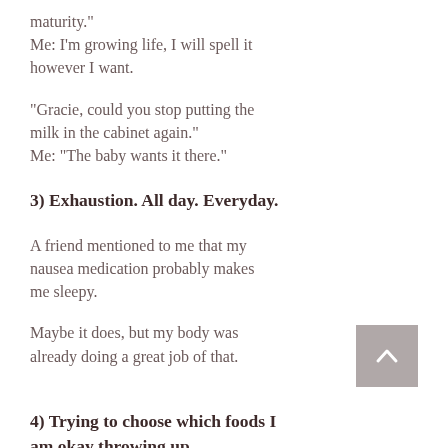maturity."
Me: I'm growing life, I will spell it however I want.
"Gracie, could you stop putting the milk in the cabinet again."
Me: "The baby wants it there."
3) Exhaustion. All day. Everyday.
A friend mentioned to me that my nausea medication probably makes me sleepy.
Maybe it does, but my body was already doing a great job of that.
4) Trying to choose which foods I am okay throwing up.